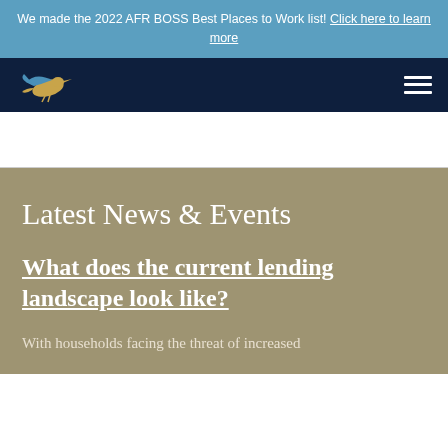We made the 2022 AFR BOSS Best Places to Work list! Click here to learn more
[Figure (logo): Flying bird logo (heron/crane) in blue and gold colors on dark navy background]
Latest News & Events
What does the current lending landscape look like?
With households facing the threat of increased